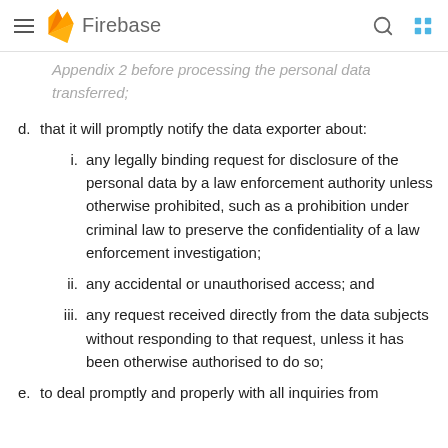Firebase
Appendix 2 before processing the personal data transferred;
d. that it will promptly notify the data exporter about:
i. any legally binding request for disclosure of the personal data by a law enforcement authority unless otherwise prohibited, such as a prohibition under criminal law to preserve the confidentiality of a law enforcement investigation;
ii. any accidental or unauthorised access; and
iii. any request received directly from the data subjects without responding to that request, unless it has been otherwise authorised to do so;
e. to deal promptly and properly with all inquiries from